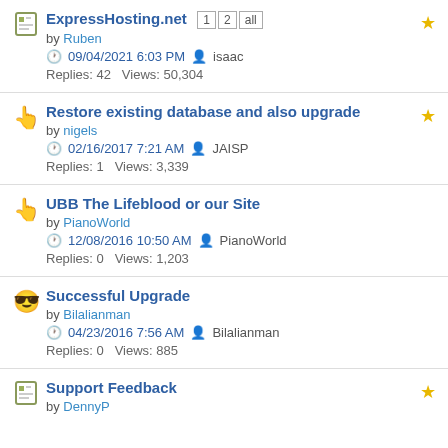ExpressHosting.net | pages: 1 2 all | by Ruben | 09/04/2021 6:03 PM | isaac | Replies: 42 Views: 50,304
Restore existing database and also upgrade | by nigels | 02/16/2017 7:21 AM | JAISP | Replies: 1 Views: 3,339
UBB The Lifeblood or our Site | by PianoWorld | 12/08/2016 10:50 AM | PianoWorld | Replies: 0 Views: 1,203
Successful Upgrade | by Bilalianman | 04/23/2016 7:56 AM | Bilalianman | Replies: 0 Views: 885
Support Feedback | by DennyP